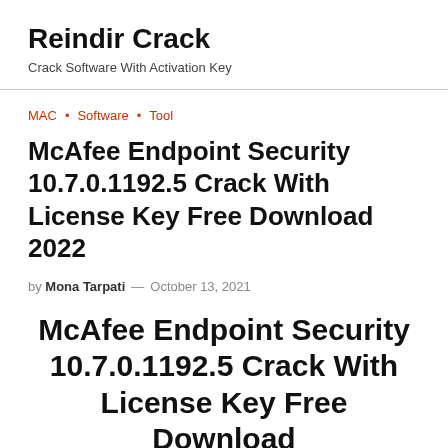Reindir Crack
Crack Software With Activation Key
MAC • Software • Tool
McAfee Endpoint Security 10.7.0.1192.5 Crack With License Key Free Download 2022
by Mona Tarpati — October 13, 2021
McAfee Endpoint Security 10.7.0.1192.5 Crack With License Key Free Download